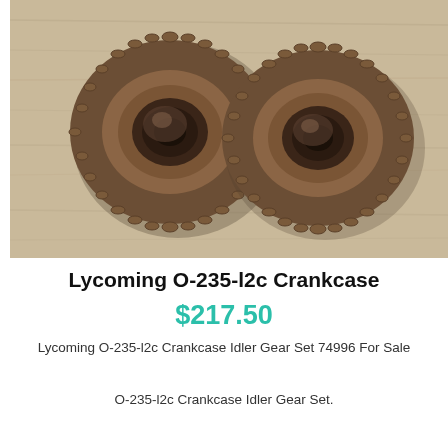[Figure (photo): Two bronze/brown Lycoming O-235-l2c Crankcase Idler Gears (part number 74996) photographed on a light wooden surface. Both gears are circular with teeth around the perimeter and a central hub.]
Lycoming O-235-l2c Crankcase
$217.50
Lycoming O-235-l2c Crankcase Idler Gear Set 74996 For Sale
O-235-l2c Crankcase Idler Gear Set.